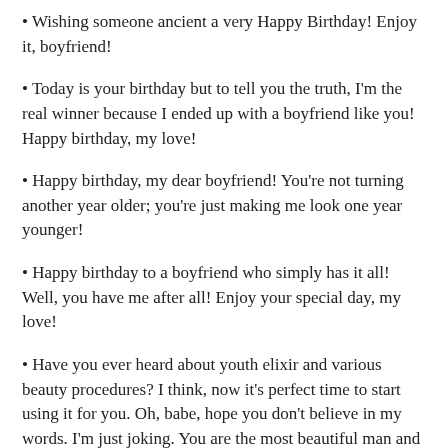Wishing someone ancient a very Happy Birthday! Enjoy it, boyfriend!
Today is your birthday but to tell you the truth, I'm the real winner because I ended up with a boyfriend like you! Happy birthday, my love!
Happy birthday, my dear boyfriend! You're not turning another year older; you're just making me look one year younger!
Happy birthday to a boyfriend who simply has it all! Well, you have me after all! Enjoy your special day, my love!
Have you ever heard about youth elixir and various beauty procedures? I think, now it's perfect time to start using it for you. Oh, babe, hope you don't believe in my words. I'm just joking. You are the most beautiful man and